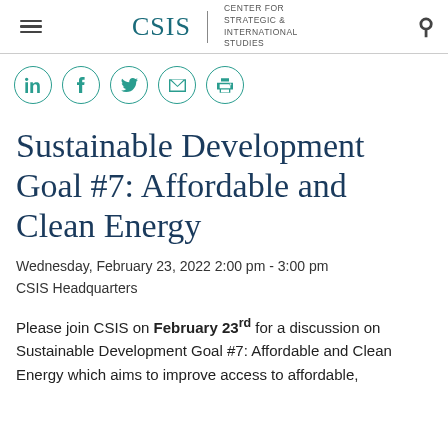CSIS | CENTER FOR STRATEGIC & INTERNATIONAL STUDIES
[Figure (illustration): Row of five circular social media icon buttons: LinkedIn, Facebook, Twitter, Email, Print — outlined in teal]
Sustainable Development Goal #7: Affordable and Clean Energy
Wednesday, February 23, 2022 2:00 pm - 3:00 pm
CSIS Headquarters
Please join CSIS on February 23rd for a discussion on Sustainable Development Goal #7: Affordable and Clean Energy which aims to improve access to affordable,